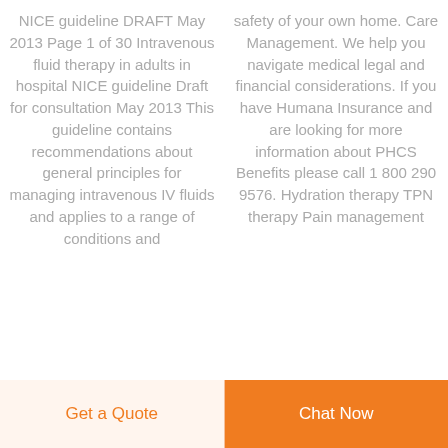NICE guideline DRAFT May 2013 Page 1 of 30 Intravenous fluid therapy in adults in hospital NICE guideline Draft for consultation May 2013 This guideline contains recommendations about general principles for managing intravenous IV fluids and applies to a range of conditions and
safety of your own home. Care Management. We help you navigate medical legal and financial considerations. If you have Humana Insurance and are looking for more information about PHCS Benefits please call 1 800 290 9576. Hydration therapy TPN therapy Pain management
Get a Quote  Chat Now